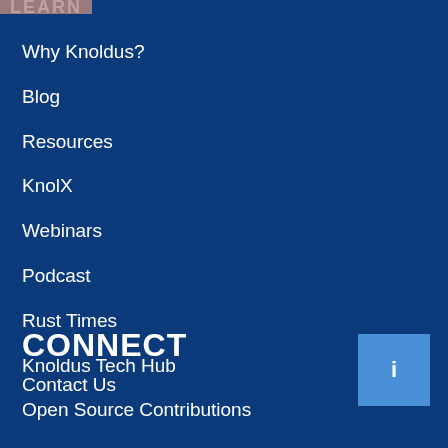LEARN
Why Knoldus?
Blog
Resources
KnolX
Webinars
Podcast
Rust Times
Knoldus Tech Hub
Open Source Contributions
CONNECT
Contact Us